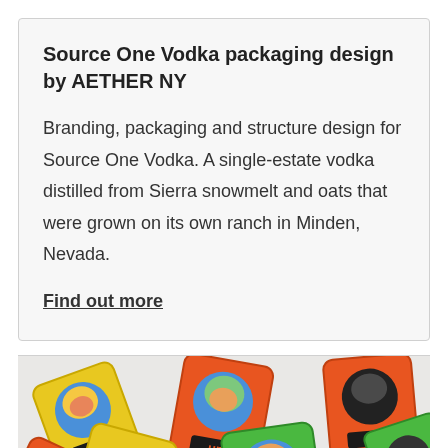Source One Vodka packaging design by AETHER NY
Branding, packaging and structure design for Source One Vodka. A single-estate vodka distilled from Sierra snowmelt and oats that were grown on its own ranch in Minden, Nevada.
Find out more
[Figure (photo): Colorful candy/snack packets in yellow, orange, green colors with cartoon face branding scattered on a white background]